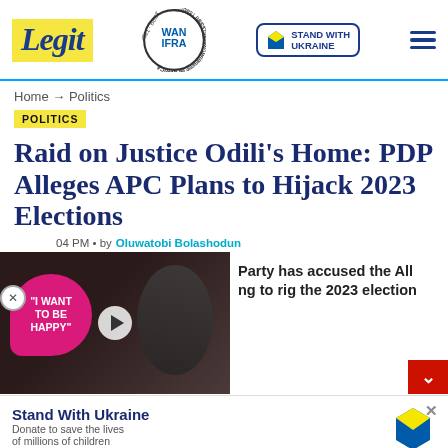Legit | Home → Politics
POLITICS
Raid on Justice Odili's Home: PDP Alleges APC Plans to Hijack 2023 Elections
by Oluwatobi Bolashodun
[Figure (screenshot): Video thumbnail showing text 'I WANT TO BE HAPPY' and people in background]
Party has accused the All ng to rig the 2023 election
[Figure (infographic): Stand With Ukraine donation banner with heart logo]